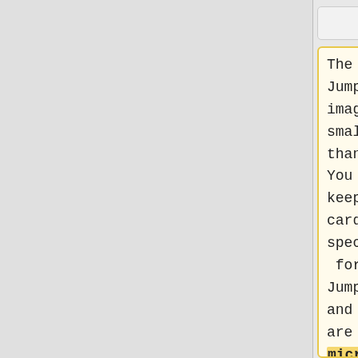The Jumpdrive image is smaller than 50MB. You can keep an SD card specifically for using Jumpdrive, and there are 64MB micro SD cards sold cheaply that will suffice. Jumpdrive also acts
The Jumpdrive image is smaller than 50MB. You can keep an microSD card specifically for using Jumpdrive, and there are 64MB microSD cards sold cheaply that will suffice. Jumpdrive